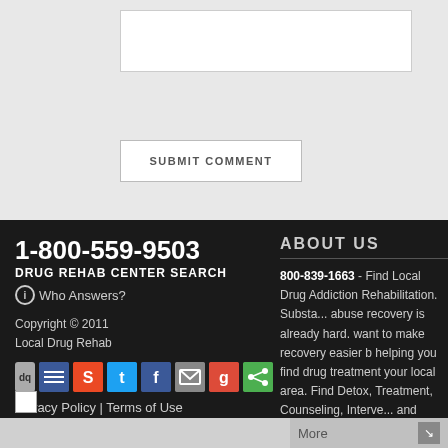[Figure (screenshot): Submit comment button on light gray background with white input box above]
1-800-559-9503
DRUG REHAB CENTER SEARCH
Who Answers?
Copyright © 2011
Local Drug Rehab
Privacy Policy | Terms of Use
ABOUT US
800-839-1663 - Find Local Drug Addiction Rehabilitation. Substance abuse recovery is already hard. We want to make recovery easier by helping you find drug treatment in your local area. Find Detox, Treatment, Counseling, Intervention and Therapy